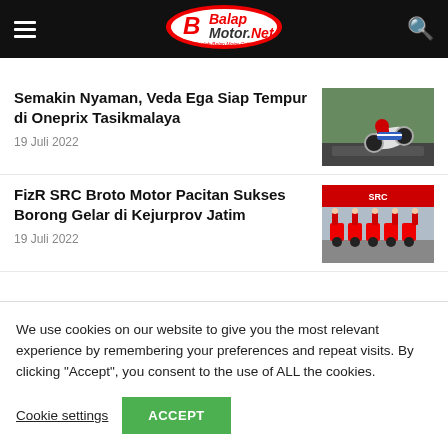BalaP Motor.Net — Majalah Balap Motor Online
Semakin Nyaman, Veda Ega Siap Tempur di Oneprix Tasikmalaya
19 Juli 2022
[Figure (photo): Motorcycle racer leaning into a turn on a racing circuit]
FizR SRC Broto Motor Pacitan Sukses Borong Gelar di Kejurprov Jatim
19 Juli 2022
[Figure (photo): Racing team lined up with red motorcycles in a paddock area with SRC branding]
We use cookies on our website to give you the most relevant experience by remembering your preferences and repeat visits. By clicking "Accept", you consent to the use of ALL the cookies.
Cookie settings
ACCEPT